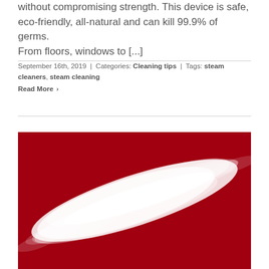without compromising strength. This device is safe, eco-friendly, all-natural and can kill 99.9% of germs. From floors, windows to [...]
September 16th, 2019 | Categories: Cleaning tips | Tags: steam cleaners, steam cleaning
Read More >
[Figure (photo): Photo of a stream of white steam against a deep red background, flowing diagonally from lower left to upper right.]